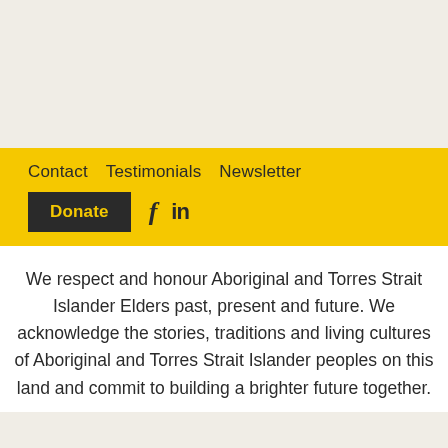Contact   Testimonials   Newsletter
Donate   f   in
We respect and honour Aboriginal and Torres Strait Islander Elders past, present and future. We acknowledge the stories, traditions and living cultures of Aboriginal and Torres Strait Islander peoples on this land and commit to building a brighter future together.